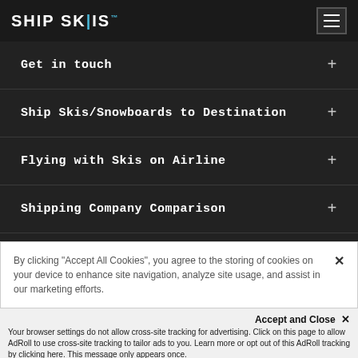[Figure (logo): Ship Skis logo with navigation header on dark background]
Get in touch +
Ship Skis/Snowboards to Destination +
Flying with Skis on Airline +
Shipping Company Comparison +
Ski Trip to Destination +
By clicking “Accept All Cookies”, you agree to the storing of cookies on your device to enhance site navigation, analyze site usage, and assist in our marketing efforts.
Accept and Close ×
Your browser settings do not allow cross-site tracking for advertising. Click on this page to allow AdRoll to use cross-site tracking to tailor ads to you. Learn more or opt out of this AdRoll tracking by clicking here. This message only appears once.